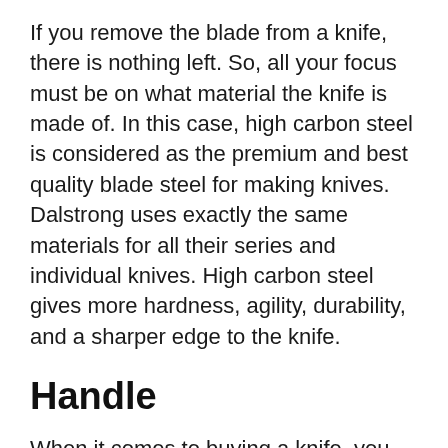If you remove the blade from a knife, there is nothing left. So, all your focus must be on what material the knife is made of. In this case, high carbon steel is considered as the premium and best quality blade steel for making knives. Dalstrong uses exactly the same materials for all their series and individual knives. High carbon steel gives more hardness, agility, durability, and a sharper edge to the knife.
Handle
When it comes to buying a knife, you need to pay utmost importance to the handle. No matter how good your blade is you can't utilize the knife properly until you have the best grip on it. You must be careful about the